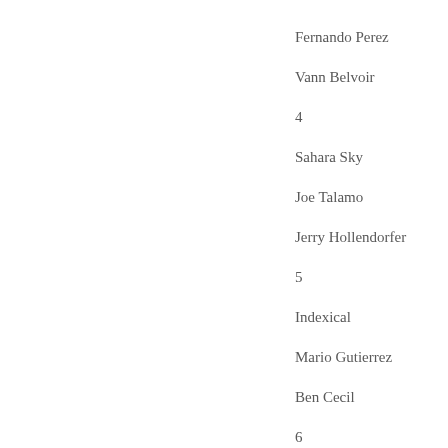Fernando Perez
Vann Belvoir
4
Sahara Sky
Joe Talamo
Jerry Hollendorfer
5
Indexical
Mario Gutierrez
Ben Cecil
6